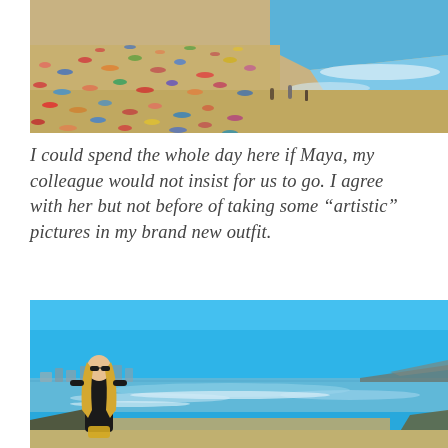[Figure (photo): Aerial/elevated view of a crowded beach with many sunbathers on golden sand and gentle ocean waves, bright sunny day]
I could spend the whole day here if Maya, my colleague would not insist for us to go. I agree with her but not before of taking some “artistic” pictures in my brand new outfit.
[Figure (photo): Young blonde woman in sunglasses and black outfit posing on a beach with bright blue sky, ocean waves, and coastal city in the background]